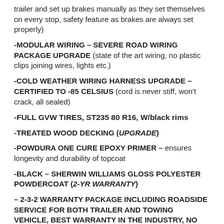trailer and set up brakes manually as they set themselves on every stop, safety feature as brakes are always set properly)
-MODULAR WIRING – SEVERE ROAD WIRING PACKAGE UPGRADE (state of the art wiring, no plastic clips joining wires, lights etc.)
-COLD WEATHER WIRING HARNESS UPGRADE – CERTIFIED TO -85 CELSIUS (cord is never stiff, won't crack, all sealed)
-FULL GVW TIRES, ST235 80 R16, W/black rims
-TREATED WOOD DECKING (UPGRADE)
-POWDURA ONE CURE EPOXY PRIMER – ensures longevity and durability of topcoat
-BLACK – SHERWIN WILLIAMS GLOSS POLYESTER POWDERCOAT (2-YR WARRANTY)
– 2-3-2 WARRANTY PACKAGE INCLUDING ROADSIDE SERVICE FOR BOTH TRAILER AND TOWING VEHICLE, BEST WARRANTY IN THE INDUSTRY, NO OTHER MANUFACTURER